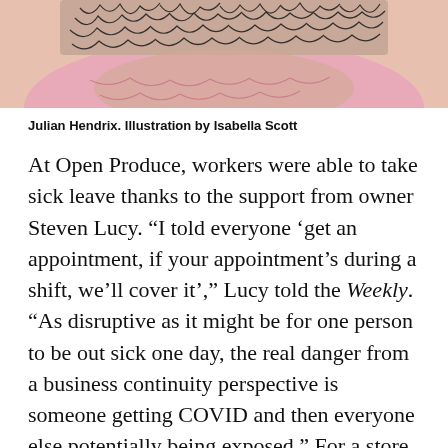[Figure (illustration): Cropped illustration showing the top of a person's head with curly/scribbly dark hair against a pink/skin-toned background, drawn in a sketchy illustrative style.]
Julian Hendrix. Illustration by Isabella Scott
At Open Produce, workers were able to take sick leave thanks to the support from owner Steven Lucy. “I told everyone ‘get an appointment, if your appointment’s during a shift, we’ll cover it’,” Lucy told the Weekly. “As disruptive as it might be for one person to be out sick one day, the real danger from a business continuity perspective is someone getting COVID and then everyone else potentially being exposed.” For a store that focused on serving the surrounding South Side neighborhood, Lucy believed that ensuring the staff’s safety is equal to ensuring a community’s food access.